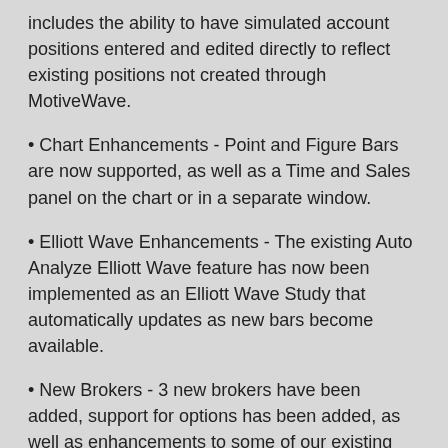includes the ability to have simulated account positions entered and edited directly to reflect existing positions not created through MotiveWave.
• Chart Enhancements - Point and Figure Bars are now supported, as well as a Time and Sales panel on the chart or in a separate window.
• Elliott Wave Enhancements - The existing Auto Analyze Elliott Wave feature has now been implemented as an Elliott Wave Study that automatically updates as new bars become available.
• New Brokers - 3 new brokers have been added, support for options has been added, as well as enhancements to some of our existing brokers.
• Performance/Memory - Significant